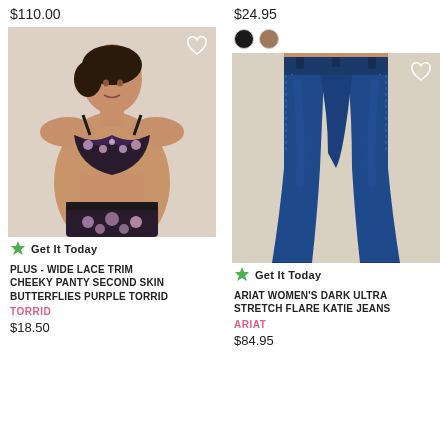$110.00
[Figure (photo): Woman wearing floral bra and cheeky panty set - plus size lingerie in purple butterfly print with black lace trim]
Get It Today
PLUS - WIDE LACE TRIM CHEEKY PANTY SECOND SKIN BUTTERFLIES PURPLE TORRID
TORRID
$18.50
$24.95
[Figure (photo): Back view of dark blue denim flare jeans (Ariat Women's Dark Ultra Stretch Flare Katie Jeans) on a model]
Get It Today
ARIAT WOMEN'S DARK ULTRA STRETCH FLARE KATIE JEANS
ARIAT
$84.95